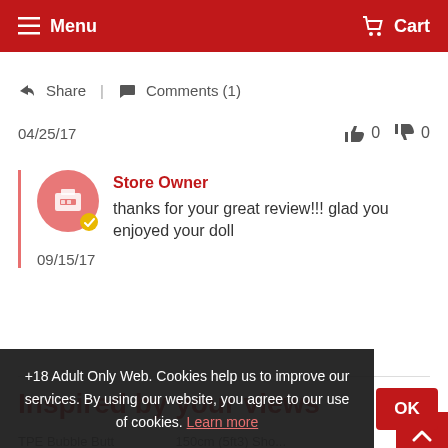Menu | Cart
Share | Comments (1)
04/25/17   👍 0   👎 0
Store Owner
thanks for your great review!!! glad you enjoyed your doll
09/15/17
Inspired by your views
TPE Bubble Butt   150cm (5ft3) Sho...
+18 Adult Only Web. Cookies help us to improve our services. By using our website, you agree to our use of cookies. Learn more
OK